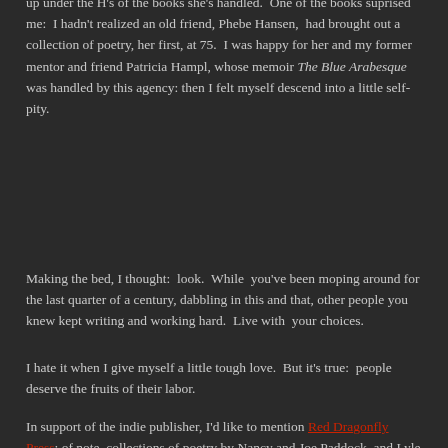up under the H's of the books she's handled.  One of the books suprised me:  I hadn't realized an old friend, Phebe Hansen,  had brought out a collection of poetry, her first, at 75.  I was happy for her and my former mentor and friend Patricia Hampl, whose memoir The Blue Arabesque was handled by this agency: then I felt myself descend into a little self-pity.
Making the bed, I thought:  look.  While  you've been moping around for the last quarter of a century, dabbling in this and that, other people you knew kept writing and working hard.  Live with  your choices.
I hate it when I give myself a little tough love.  But it's true:  people deserve the fruits of their labor.
In support of the indie publisher, I'd like to mention Red Dragonfly Press; of note, collections of poetry by Nancy and Joe Paddock, and Lyle Daggott, top